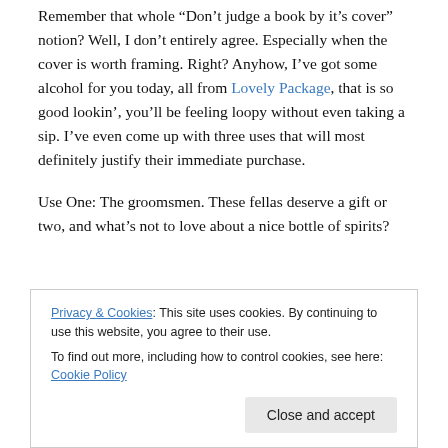Remember that whole “Don’t judge a book by it’s cover” notion? Well, I don’t entirely agree. Especially when the cover is worth framing. Right? Anyhow, I’ve got some alcohol for you today, all from Lovely Package, that is so good lookin’, you’ll be feeling loopy without even taking a sip. I’ve even come up with three uses that will most definitely justify their immediate purchase.
Use One: The groomsmen. These fellas deserve a gift or two, and what’s not to love about a nice bottle of spirits?
Privacy & Cookies: This site uses cookies. By continuing to use this website, you agree to their use.
To find out more, including how to control cookies, see here: Cookie Policy